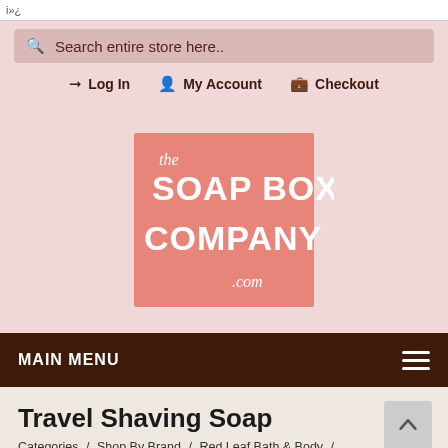i»¿
Search entire store here..
Log In   My Account   Checkout
[Figure (logo): The Soap Box Company .com logo — a postage stamp style square with pink/salmon background, white decorative serif text reading 'the SOAP BOX COMPANY .com' with scalloped stamp edges on a light pink background]
MAIN MENU
Travel Shaving Soap
Categories / Shop By Brand / Red Leaf Bath & Body / Travel Shaving Soap